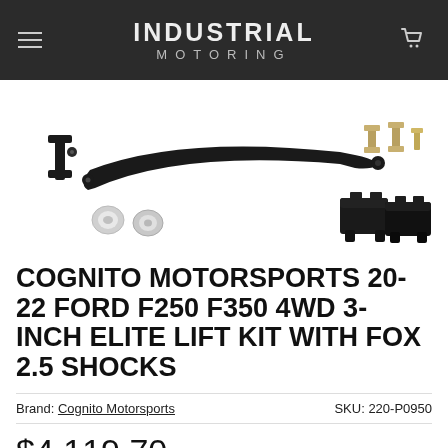INDUSTRIAL MOTORING
[Figure (photo): Product photo showing Cognito Motorsports lift kit components including a curved track bar, brackets, hardware bolts, silver end caps, and black sensor brackets on a white background.]
COGNITO MOTORSPORTS 20-22 FORD F250 F350 4WD 3-INCH ELITE LIFT KIT WITH FOX 2.5 SHOCKS
Brand: Cognito Motorsports   SKU: 220-P0950
$4,119.70